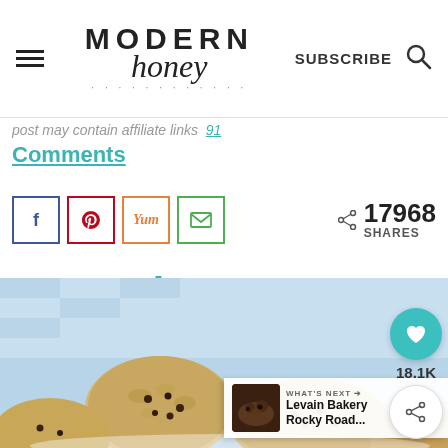Modern Honey — SUBSCRIBE (search icon)
post may contain affiliate links  91 Comments
[Figure (screenshot): Social share buttons: Facebook (f), Pinterest (P), Yummly (Yum), Email (envelope icon). Share count: 17968 SHARES]
Jump to Recipe
[Figure (photo): Oatmeal raisin cookies on a blue and white checkered cloth, close-up photo from below]
WHAT'S NEXT → Levain Bakery Rocky Road...